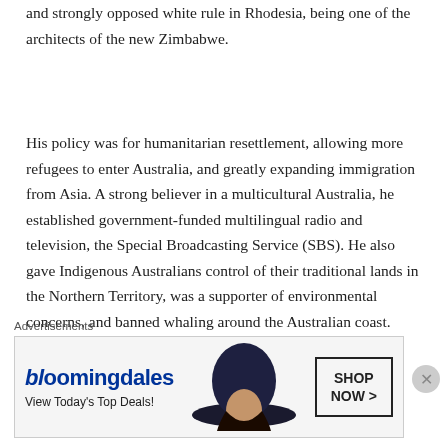and strongly opposed white rule in Rhodesia, being one of the architects of the new Zimbabwe.
His policy was for humanitarian resettlement, allowing more refugees to enter Australia, and greatly expanding immigration from Asia. A strong believer in a multicultural Australia, he established government-funded multilingual radio and television, the Special Broadcasting Service (SBS). He also gave Indigenous Australians control of their traditional lands in the Northern Territory, was a supporter of environmental concerns, and banned whaling around the Australian coast.
Although he managed to win another election in 1980 with a greatly reduced majority, he lost the
Advertisements
[Figure (infographic): Bloomingdale's advertisement banner showing logo, 'View Today's Top Deals!', a woman with a wide-brim hat, and a 'SHOP NOW >' button.]